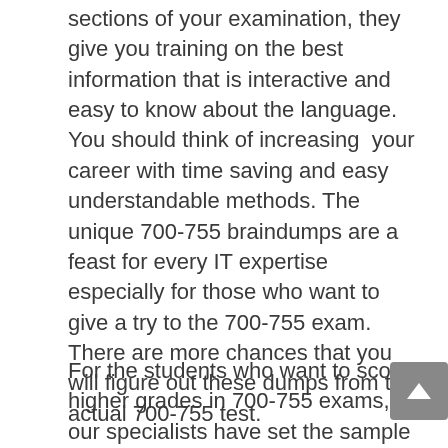sections of your examination, they give you training on the best information that is interactive and easy to know about the language.  You should think of increasing  your career with time saving and easy understandable methods. The unique 700-755 braindumps are a feast for every IT expertise especially for those who want to give a try to the 700-755 exam. There are more chances that you will figure out these dumps from the actual 700-755 test.
For the students who want to score higher grades in 700-755 exams, our specialists have set the sample exams that are the same as the real 700-755 exam.  By attempting these 700-755 exam sample questions gives you assurity to enhance your confidence and it enables you to manage time during the 700-755 exam